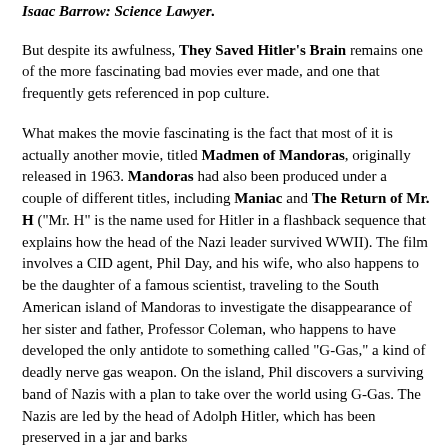Isaac Barrow: Science Lawyer.
But despite its awfulness, They Saved Hitler's Brain remains one of the more fascinating bad movies ever made, and one that frequently gets referenced in pop culture.
What makes the movie fascinating is the fact that most of it is actually another movie, titled Madmen of Mandoras, originally released in 1963. Mandoras had also been produced under a couple of different titles, including Maniac and The Return of Mr. H ("Mr. H" is the name used for Hitler in a flashback sequence that explains how the head of the Nazi leader survived WWII). The film involves a CID agent, Phil Day, and his wife, who also happens to be the daughter of a famous scientist, traveling to the South American island of Mandoras to investigate the disappearance of her sister and father, Professor Coleman, who happens to have developed the only antidote to something called "G-Gas," a kind of deadly nerve gas weapon. On the island, Phil discovers a surviving band of Nazis with a plan to take over the world using G-Gas. The Nazis are led by the head of Adolph Hitler, which has been preserved in a jar and barks orders like "Mach Schnell!"